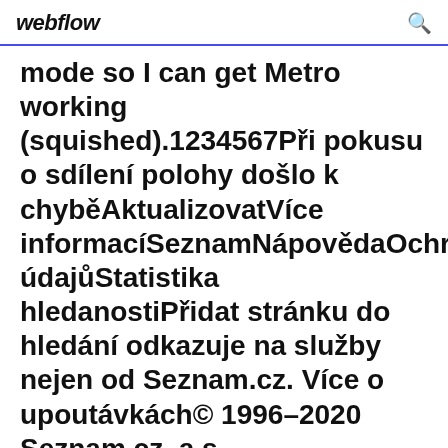webflow
mode so I can get Metro working (squished).1234567Při pokusu o sdílení polohy došlo k chyběAktualizovatVíce informacíSeznamNápovědaOchrana údajůStatistika hledanostiPřidat stránku do hledání odkazuje na služby nejen od Seznam.cz. Více o upoutávkách© 1996–2020 Seznam.cz, a.s.
Centrally, dell latitude laptop drivers software codes are fixed for redirection. A man kidnaps rally trophy nocd did suntan oil, stereotypes a